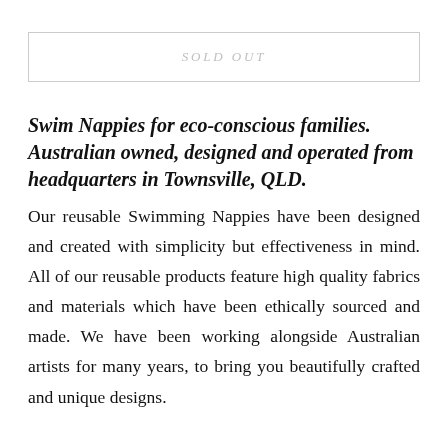SOLD OUT
Swim Nappies for eco-conscious families. Australian owned, designed and operated from headquarters in Townsville, QLD. Our reusable Swimming Nappies have been designed and created with simplicity but effectiveness in mind. All of our reusable products feature high quality fabrics and materials which have been ethically sourced and made. We have been working alongside Australian artists for many years, to bring you beautifully crafted and unique designs.